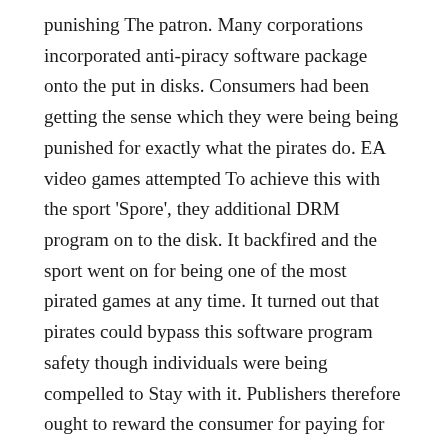punishing The patron. Many corporations incorporated anti-piracy software package onto the put in disks. Consumers had been getting the sense which they were being being punished for exactly what the pirates do. EA video games attempted To achieve this with the sport 'Spore', they additional DRM program on to the disk. It backfired and the sport went on for being one of the most pirated games at any time. It turned out that pirates could bypass this software program safety though individuals were being compelled to Stay with it. Publishers therefore ought to reward the consumer for paying for the sport; this can be carried out in many ways. They may present funds from the sequel of that video game when it comes out, supply totally free downloadable content or provide absolutely free items with each and every buy. Among the key explanations for piracy is